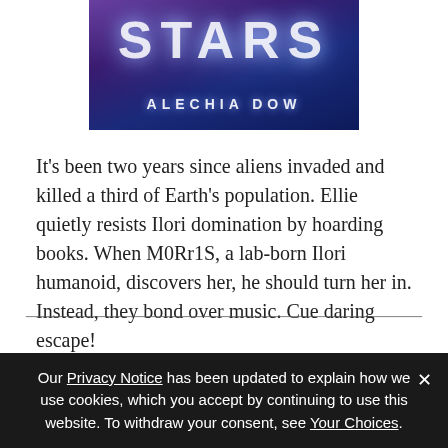[Figure (illustration): Book cover for a science fiction novel featuring the partial title 'STARS' in large glowing white letters on a dark purple-blue gradient background, with author name 'ALECHIA DOW' in spaced white letters below]
It’s been two years since aliens invaded and killed a third of Earth’s population. Ellie quietly resists Ilori domination by hoarding books. When M0Rr1S, a lab-born Ilori humanoid, discovers her, he should turn her in. Instead, they bond over music. Cue daring escape!
Gender Roles? I Don’t Know Her.
Our Privacy Notice has been updated to explain how we use cookies, which you accept by continuing to use this website. To withdraw your consent, see Your Choices.